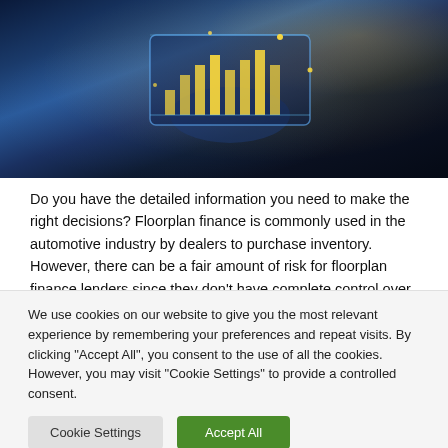[Figure (photo): Person holding a transparent digital tablet displaying holographic financial charts and data visualizations with glowing golden light effects against a dark background]
Do you have the detailed information you need to make the right decisions? Floorplan finance is commonly used in the automotive industry by dealers to purchase inventory. However, there can be a fair amount of risk for floorplan finance lenders since they don't have complete control over the vehicles on which the loan is secured.
We use cookies on our website to give you the most relevant experience by remembering your preferences and repeat visits. By clicking "Accept All", you consent to the use of all the cookies. However, you may visit "Cookie Settings" to provide a controlled consent.